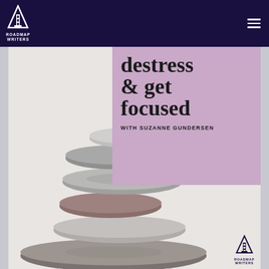Roadmap Writers
[Figure (illustration): A promotional image for 'destress & get focused with Suzanne Gundersen' by Roadmap Writers, featuring a stack of balanced stones on a light gray background with a mauve/purple overlay box containing the title text and presenter name. A Roadmap Writers logo appears in the bottom right of the image.]